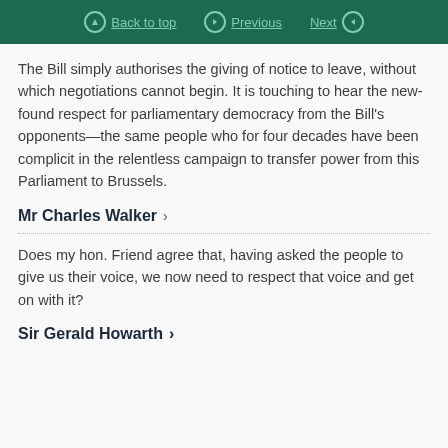Back to top | Previous | Next
The Bill simply authorises the giving of notice to leave, without which negotiations cannot begin. It is touching to hear the new-found respect for parliamentary democracy from the Bill’s opponents—the same people who for four decades have been complicit in the relentless campaign to transfer power from this Parliament to Brussels.
Mr Charles Walker
Does my hon. Friend agree that, having asked the people to give us their voice, we now need to respect that voice and get on with it?
Sir Gerald Howarth